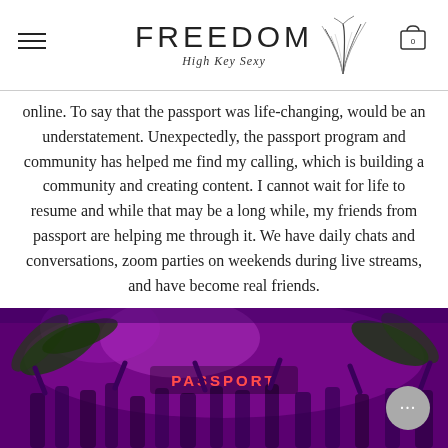FREEDOM High Key Sexy
online. To say that the passport was life-changing, would be an understatement. Unexpectedly, the passport program and community has helped me find my calling, which is building a community and creating content. I cannot wait for life to resume and while that may be a long while, my friends from passport are helping me through it. We have daily chats and conversations, zoom parties on weekends during live streams, and have become real friends.
[Figure (photo): A group of people at a party event with a neon 'PASSPORT' sign glowing in red, purple ambient lighting, palm plants visible, crowd celebrating with hands raised.]